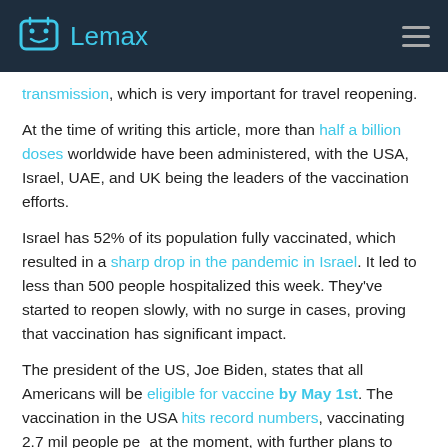Lemax
transmission, which is very important for travel reopening.
At the time of writing this article, more than half a billion doses worldwide have been administered, with the USA, Israel, UAE, and UK being the leaders of the vaccination efforts.
Israel has 52% of its population fully vaccinated, which resulted in a sharp drop in the pandemic in Israel. It led to less than 500 people hospitalized this week. They've started to reopen slowly, with no surge in cases, proving that vaccination has significant impact.
The president of the US, Joe Biden, states that all Americans will be eligible for vaccine by May 1st. The vaccination in the USA hits record numbers, vaccinating 2.7 mil people per at the moment, with further plans to increase daily rate also expects there will be enough doses to vaccinate 300 mil